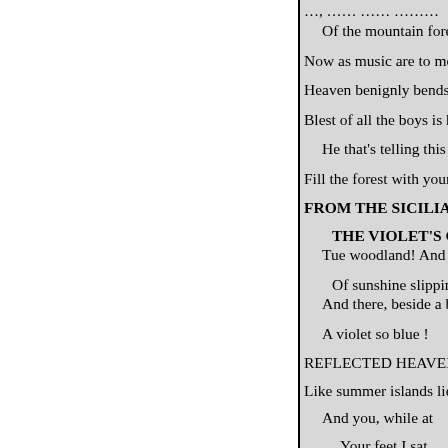Of the mountain forest free ! W
Now as music are to me! Earth i
Heaven benignly bends to.see ! B
Blest of all the boys is he ! Blest
He that's telling this to thee! S
Fill the forest with your glee !
FROM THE SICILIAN OF VIC
THE VIOLET'S GRA
Tue woodland! And a golde
Of sunshine slipping throu
And there, beside a bit of he
A violet so blue !
REFLECTED HEAVEN. The m
Like summer islands lie : Now w
And you, while at
Your feet I sat,
Would gaze into the skies: